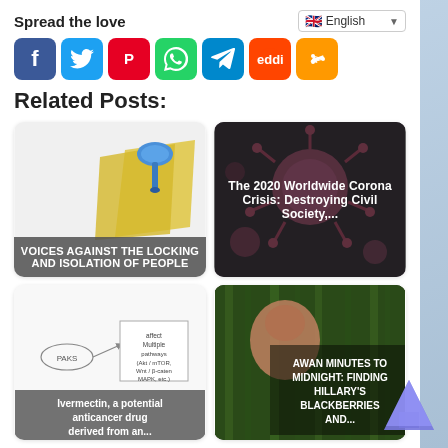Spread the love
[Figure (infographic): Social sharing buttons: Facebook (blue), Twitter (light blue), Pinterest (red), WhatsApp (green), Telegram (blue), Reddit (orange-red), Share (orange)]
Related Posts:
[Figure (illustration): Card with thumbtack/pin icon on sticky note. Overlay text: VOICES AGAINST THE LOCKING AND ISOLATION OF PEOPLE]
[Figure (photo): Close-up image of coronavirus particles (pink/magenta spiky spheres on dark background). Overlay text: The 2020 Worldwide Corona Crisis: Destroying Civil Society,...]
[Figure (engineering-diagram): Scientific diagram showing PAKS pathway affecting Multiple pathways (Akt/mTOR, Wnt/β-caten, MAPK, etc.). Overlay text: Ivermectin, a potential anticancer drug derived from an...]
[Figure (photo): Man's face in front of bamboo/green foliage. Overlay text: AWAN MINUTES TO MIDNIGHT: FINDING HILLARY'S BLACKBERRIES AND...]